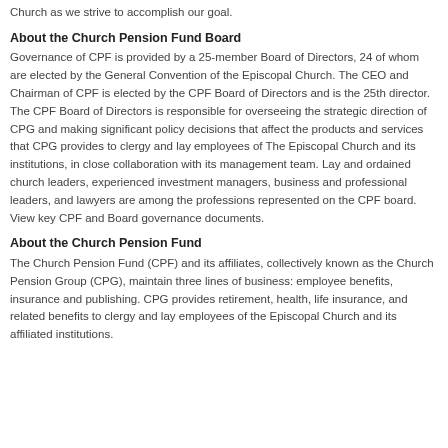Church as we strive to accomplish our goal.
About the Church Pension Fund Board
Governance of CPF is provided by a 25-member Board of Directors, 24 of whom are elected by the General Convention of the Episcopal Church. The CEO and Chairman of CPF is elected by the CPF Board of Directors and is the 25th director. The CPF Board of Directors is responsible for overseeing the strategic direction of CPG and making significant policy decisions that affect the products and services that CPG provides to clergy and lay employees of The Episcopal Church and its institutions, in close collaboration with its management team. Lay and ordained church leaders, experienced investment managers, business and professional leaders, and lawyers are among the professions represented on the CPF board. View key CPF and Board governance documents.
About the Church Pension Fund
The Church Pension Fund (CPF) and its affiliates, collectively known as the Church Pension Group (CPG), maintain three lines of business: employee benefits, insurance and publishing. CPG provides retirement, health, life insurance, and related benefits to clergy and lay employees of the Episcopal Church and its affiliated institutions.